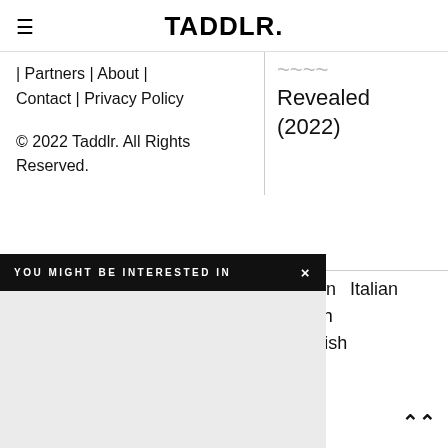TADDLR.
| Partners | About | Contact | Privacy Policy
© 2022 Taddlr. All Rights Reserved.
Revealed (2022)
YOU MIGHT BE INTERESTED IN  ×
German  Italian
Polish
Turkish